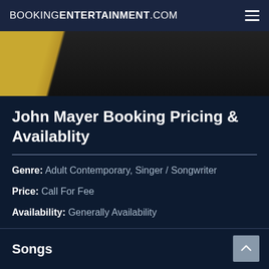BOOKINGENTERTAINMENT.COM
[Figure (photo): Partial photo of John Mayer holding a guitar, showing the guitar neck and his torso in dark clothing against a light background.]
John Mayer Booking Pricing & Availablity
Genre: Adult Contemporary, Singer / Songwriter
Price: Call For Fee
Availability: Generally Availability
Demographics: 18-25,25-35,35-50
Songs